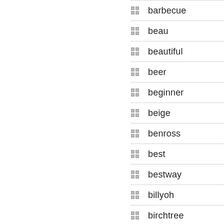barbecue
beau
beautiful
beer
beginner
beige
benross
best
bestway
billyoh
birchtree
bistro
black
blaze
blazebox